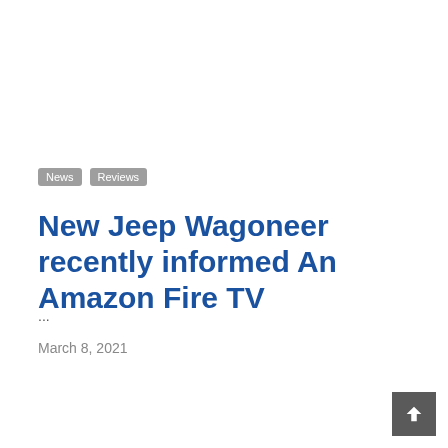News  Reviews
New Jeep Wagoneer recently informed An Amazon Fire TV
...
March 8, 2021